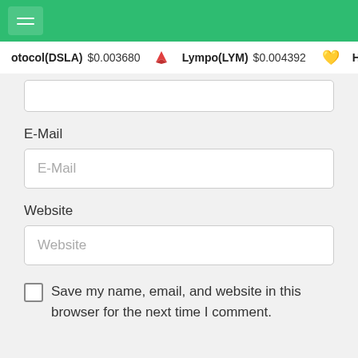Header bar with hamburger menu icon
otocol(DSLA) $0.003680   Lympo(LYM) $0.004392   Heart Num
[Figure (screenshot): Partial form input field at top (cropped)]
E-Mail
[Figure (screenshot): E-Mail text input field with placeholder 'E-Mail']
Website
[Figure (screenshot): Website text input field with placeholder 'Website']
Save my name, email, and website in this browser for the next time I comment.
Send